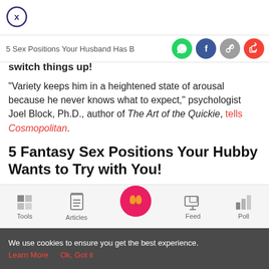[Figure (other): Close (X) button circle icon in purple/dark blue outline at top left]
5 Sex Positions Your Husband Has B [share icons: WhatsApp, Facebook, Link, Share]
switch things up!
“Variety keeps him in a heightened state of arousal because he never knows what to expect,” psychologist Joel Block, Ph.D., author of The Art of the Quickie, tells Cosmopolitan.
5 Fantasy Sex Positions Your Hubby Wants to Try with You!
1. Modified Missionary:
[Figure (other): Bottom navigation bar with Tools, Articles, center feet icon button, Feed, Poll]
We use cookies to ensure you get the best experience.
Learn More    Ok, Got it